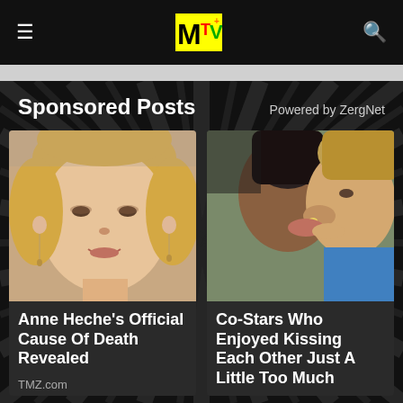MTV navigation bar with hamburger menu, MTV logo, and search icon
Sponsored Posts
Powered by ZergNet
[Figure (photo): Photo of Anne Heche, blonde woman smiling, headshot]
Anne Heche's Official Cause Of Death Revealed
TMZ.com
[Figure (photo): Photo of two co-stars kissing closely]
Co-Stars Who Enjoyed Kissing Each Other Just A Little Too Much
Looper.com